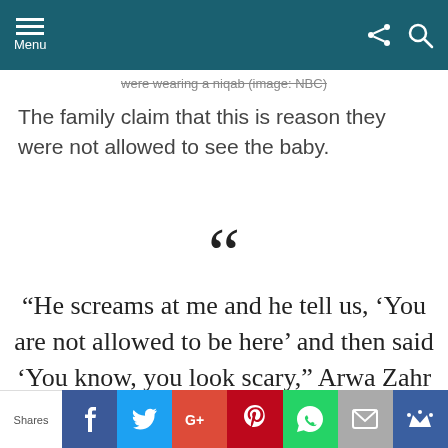Menu
were wearing a niqab (image: NBC)
The family claim that this is reason they were not allowed to see the baby.
“He screams at me and he tell us, ‘You are not allowed to be here’ and then said ‘You know, you look scary,” Arwa Zahr told NBC 4.
Shares | Facebook | Twitter | Google+ | Pinterest | WhatsApp | Email | Crown